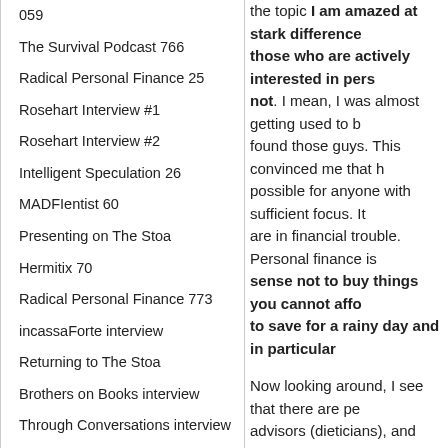059
The Survival Podcast 766
Radical Personal Finance 25
Rosehart Interview #1
Rosehart Interview #2
Intelligent Speculation 26
MADFIentist 60
Presenting on The Stoa
Hermitix 70
Radical Personal Finance 773
incassaForte interview
Returning to The Stoa
Brothers on Books interview
Through Conversations interview
And many others...
One Million in the
the topic I am amazed at stark difference those who are actively interested in pers not. I mean, I was almost getting used to b found those guys. This convinced me that h possible for anyone with sufficient focus. It are in financial trouble. Personal finance is sense not to buy things you cannot affo to save for a rainy day and in particular Now looking around, I see that there are pe advisors (dieticians), and personal trainers counting) and even personal “how to dress not question the current need for these pro to depend on professionals to solve pro place. Could it be due to excessive special responsibility to other people (and sue whe believe the answer is yes. We don’t have to a culture where people took personal respo is currently the case.